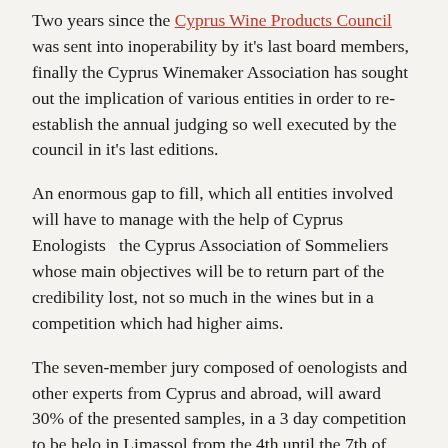Two years since the Cyprus Wine Products Council was sent into inoperability by it's last board members, finally the Cyprus Winemaker Association has sought out the implication of various entities in order to re-establish the annual judging so well executed by the council in it's last editions.
An enormous gap to fill, which all entities involved will have to manage with the help of Cyprus Enologists  the Cyprus Association of Sommeliers whose main objectives will be to return part of the credibility lost, not so much in the wines but in a competition which had higher aims.
The seven-member jury composed of oenologists and other experts from Cyprus and abroad, will award 30% of the presented samples, in a 3 day competition to be helo in Limassol from the 4th until the 7th of June and extended awards will rank according to Grand Gold, Gold, Silver and Bronze Medals. Special awards will be given also to the wine